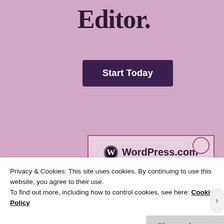Editor.
[Figure (screenshot): Dark purple 'Start Today' button]
[Figure (logo): WordPress.com logo inside a pink-bordered box with decorative circle element]
Privacy & Cookies: This site uses cookies. By continuing to use this website, you agree to their use.
To find out more, including how to control cookies, see here: Cookie Policy
Close and accept